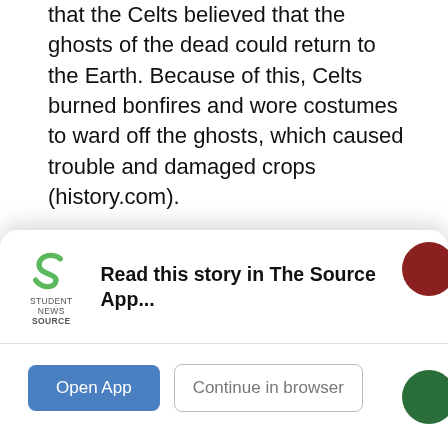that the Celts believed that the ghosts of the dead could return to the Earth. Because of this, Celts burned bonfires and wore costumes to ward off the ghosts, which caused trouble and damaged crops (history.com).
However, even this original celebration of Halloween evolved. In the eighth century, Pope Gregory III designated November 1 as “All Saints’ Day” to honor all saints and martyrs. Originally, this evening was known as All Hallows’ Eve; however, in today’s rendition of this holiday, it is now commonly referred
[Figure (screenshot): App download banner overlay with Student News Source logo, 'Read this story in The Source App...' text, and two buttons: 'Open App' and 'Continue in browser']